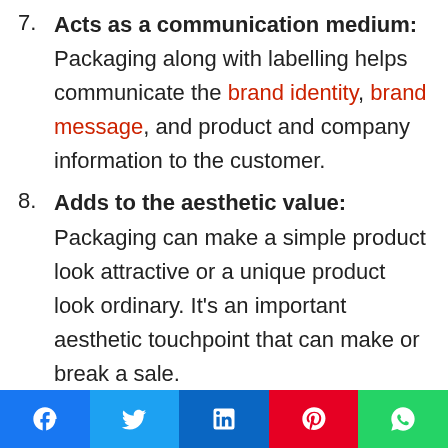7. Acts as a communication medium: Packaging along with labelling helps communicate the brand identity, brand message, and product and company information to the customer.
8. Adds to the aesthetic value: Packaging can make a simple product look attractive or a unique product look ordinary. It's an important aesthetic touchpoint that can make or break a sale.
Social share bar: Facebook, Twitter, LinkedIn, Pinterest, WhatsApp